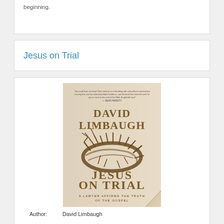beginning.
Jesus on Trial
[Figure (photo): Book cover of 'Jesus on Trial: A Lawyer Affirms the Truth of the Gospel' by David Limbaugh. Shows a crown of thorns on a beige/cream background with the author name DAVID LIMBAUGH in large gold letters at the top, JESUS ON TRIAL in large gold letters in the lower portion, and the subtitle A LAWYER AFFIRMS THE TRUTH OF THE GOSPEL at the bottom.]
Author: David Limbaugh